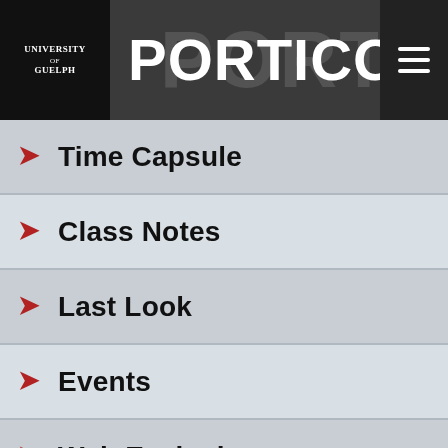[Figure (logo): University of Guelph logo and PORTICO magazine header with hamburger menu]
Time Capsule
Class Notes
Last Look
Events
Web Exclusives
MOST READ ARTICLES
ONE WORLD, ONE HEALTH
Physics professor breaks Guinness World Record No. 22